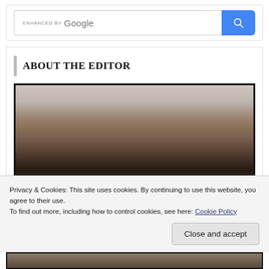[Figure (screenshot): Google search widget with 'ENHANCED BY Google' text and blue search button with magnifying glass icon]
ABOUT THE EDITOR
[Figure (photo): Blurred/cropped photo of a person showing the top of their head/hair, with dark border frame]
Privacy & Cookies: This site uses cookies. By continuing to use this website, you agree to their use.
To find out more, including how to control cookies, see here: Cookie Policy
Close and accept